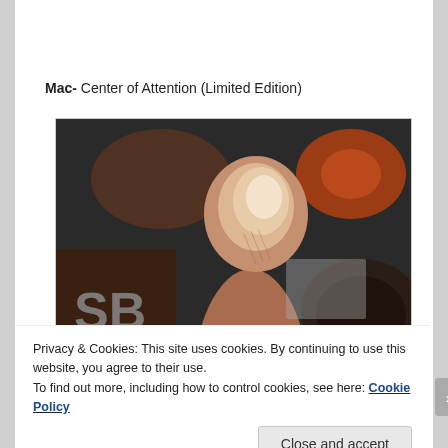Mac- Center of Attention (Limited Edition)
[Figure (photo): Close-up photo of a finger with shimmery champagne/gold highlighter swatched on the fingertip, with blurred makeup products in the background including what appears to be eyeshadow palettes and compacts.]
Privacy & Cookies: This site uses cookies. By continuing to use this website, you agree to their use.
To find out more, including how to control cookies, see here: Cookie Policy